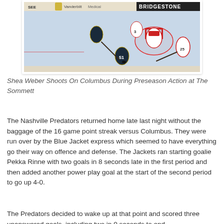[Figure (photo): Ice hockey game photo showing Nashville Predators vs Columbus Blue Jackets players near the goal during preseason action at The Sommett. Rink boards visible with Vanderbilt Medical and Bridgestone advertising banners.]
Shea Weber Shoots On Columbus During Preseason Action at The Sommett
The Nashville Predators returned home late last night without the baggage of the 16 game point streak versus Columbus. They were run over by the Blue Jacket express which seemed to have everything go their way on offence and defense. The Jackets ran starting goalie Pekka Rinne with two goals in 8 seconds late in the first period and then added another power play goal at the start of the second period to go up 4-0.
The Predators decided to wake up at that point and scored three unanswered goals, including two in 0 seconds to end